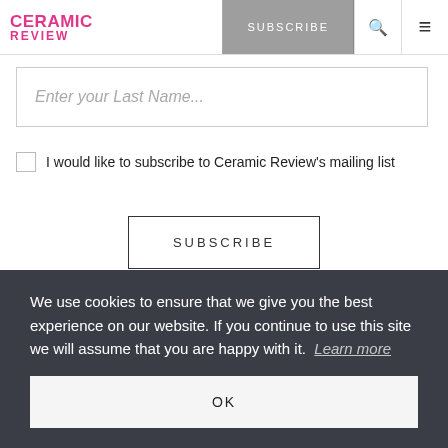CERAMIC REVIEW — SUBSCRIBE
Enter your Last Name...
I would like to subscribe to Ceramic Review's mailing list
SUBSCRIBE
We use cookies to ensure that we give you the best experience on our website. If you continue to use this site we will assume that you are happy with it. Learn more
OK